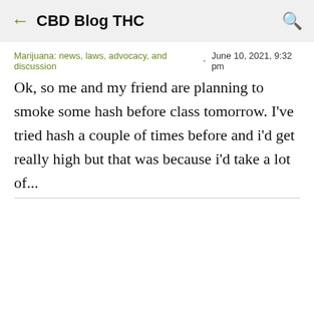CBD Blog THC
Marijuana: news, laws, advocacy, and discussion · June 10, 2021, 9:32 pm
Ok, so me and my friend are planning to smoke some hash before class tomorrow. I&#39;ve tried hash a couple of times before and i&#39;d get really high but that was because i&#39;d take a lot of...